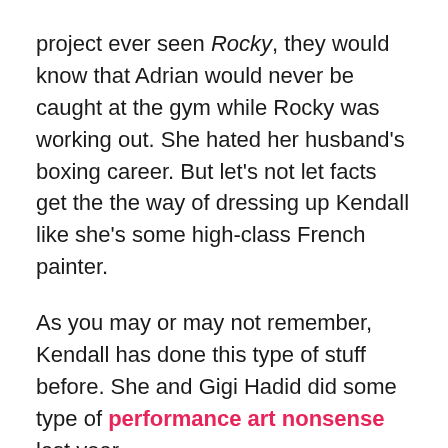project ever seen Rocky, they would know that Adrian would never be caught at the gym while Rocky was working out. She hated her husband's boxing career. But let's not let facts get the the way of dressing up Kendall like she's some high-class French painter.
As you may or may not remember, Kendall has done this type of stuff before. She and Gigi Hadid did some type of performance art nonsense last year.
While Kendall's shadowboxing form might not look like that of a high-level fight, I'd like to direct your attention to the follows GIFs.